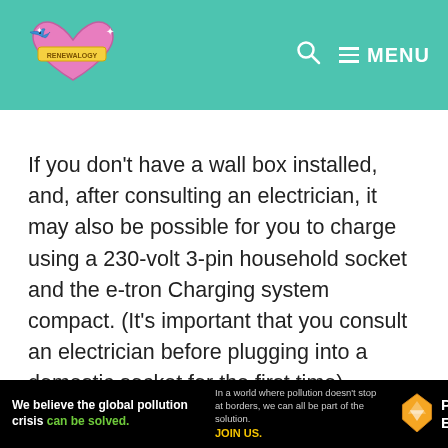Renewalogy logo, search icon, MENU
If you don't have a wall box installed, and, after consulting an electrician, it may also be possible for you to charge using a 230-volt 3-pin household socket and the e-tron Charging system compact. (It's important that you consult an electrician before plugging into a domestic socket for the first time). However, charging time will be very slow and not as efficient as having a
[Figure (other): Pure Earth advertisement banner: 'We believe the global pollution crisis can be solved.' with Pure Earth logo and diamond icon]